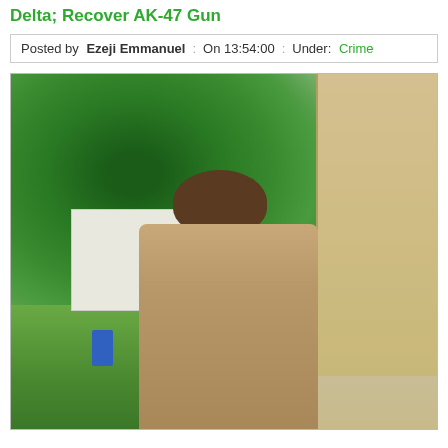Delta; Recover AK-47 Gun
Posted by  Ezeji Emmanuel  : On 13:54:00 :  Under:  Crime
[Figure (photo): A man in a beige shirt seated outdoors in front of green trees and a beige/yellow building wall on the right. Background shows a white building and a generator unit on grass.]